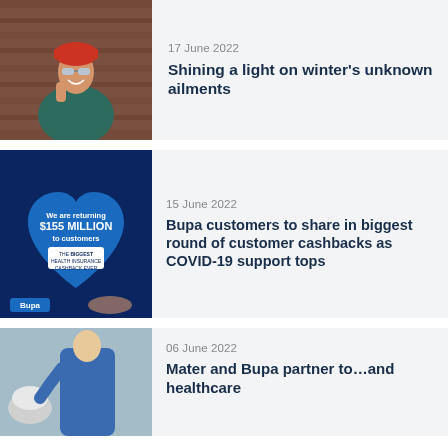[Figure (photo): Woman in red beanie hat and teal jacket laughing, talking on phone, with wooden background]
17 June 2022
Shining a light on winter's unknown ailments
[Figure (infographic): Bupa advertisement: We are returning $155 MILLION to customers - THE BIGGEST HEALTH INSURANCE CASHBACK EVER. Bupa logo at bottom left.]
15 June 2022
Bupa customers to share in biggest round of customer cashbacks as COVID-19 support tops
[Figure (photo): Healthcare worker in blue uniform attending to elderly patient]
06 June 2022
Mater and Bupa partner to…and healthcare